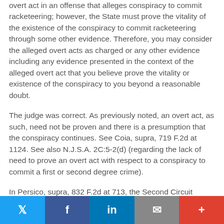overt act in an offense that alleges conspiracy to commit racketeering; however, the State must prove the vitality of the existence of the conspiracy to commit racketeering through some other evidence. Therefore, you may consider the alleged overt acts as charged or any other evidence including any evidence presented in the context of the alleged overt act that you believe prove the vitality or existence of the conspiracy to you beyond a reasonable doubt.
The judge was correct. As previously noted, an overt act, as such, need not be proven and there is a presumption that the conspiracy continues. See Coia, supra, 719 F.2d at 1124. See also N.J.S.A. 2C:5-2(d) (regarding the lack of need to prove an overt act with respect to a conspiracy to commit a first or second degree crime).
In Persico, supra, 832 F.2d at 713, the Second Circuit agreed
Twitter | Facebook | LinkedIn | Email | +